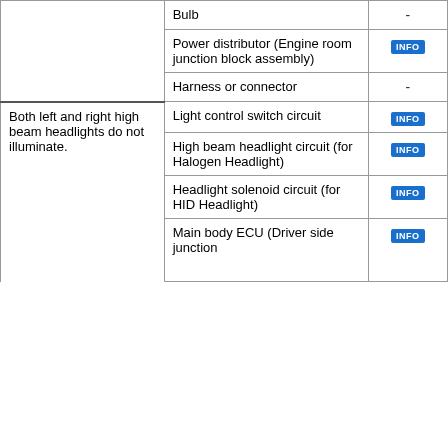| Symptom | Suspected Area | Info |
| --- | --- | --- |
|  | Bulb | - |
|  | Power distributor (Engine room junction block assembly) | INFO |
|  | Harness or connector | - |
| Both left and right high beam headlights do not illuminate. | Light control switch circuit | INFO |
|  | High beam headlight circuit (for Halogen Headlight) | INFO |
|  | Headlight solenoid circuit (for HID Headlight) | INFO |
|  | Main body ECU (Driver side junction ... | INFO |